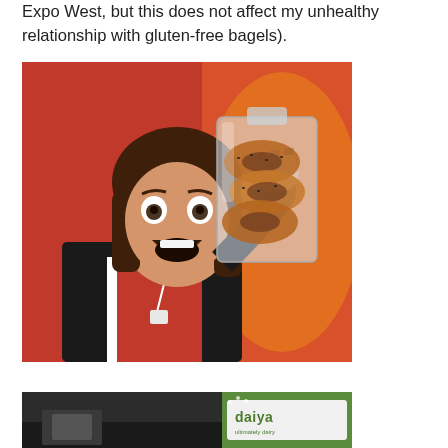Expo West, but this does not affect my unhealthy relationship with gluten-free bagels).
[Figure (photo): A woman with shoulder-length brown hair, wearing a black hoodie and red shirt with a lanyard, holding up a clear bag of gluten-free bagels with an excited/surprised expression, in front of a red background.]
[Figure (photo): Partial view of a Daiya brand booth or product display at a trade show, showing the Daiya logo on the right side and a dark background with product displays.]